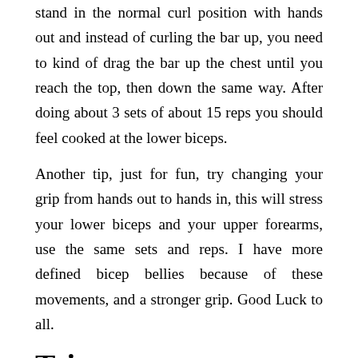stand in the normal curl position with hands out and instead of curling the bar up, you need to kind of drag the bar up the chest until you reach the top, then down the same way. After doing about 3 sets of about 15 reps you should feel cooked at the lower biceps.
Another tip, just for fun, try changing your grip from hands out to hands in, this will stress your lower biceps and your upper forearms, use the same sets and reps. I have more defined bicep bellies because of these movements, and a stronger grip. Good Luck to all.
Triceps
One of the most commonly used techniques to train your biceps is to do a close grip bench. It's